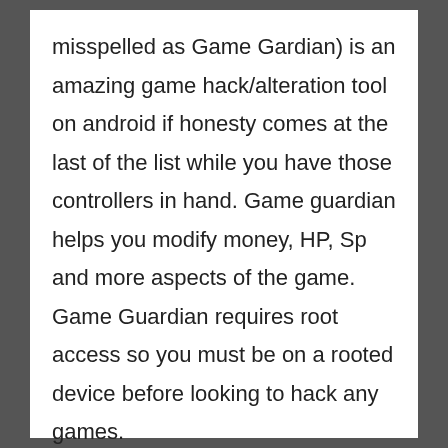misspelled as Game Gardian) is an amazing game hack/alteration tool on android if honesty comes at the last of the list while you have those controllers in hand. Game guardian helps you modify money, HP, Sp and more aspects of the game. Game Guardian requires root access so you must be on a rooted device before looking to hack any games.